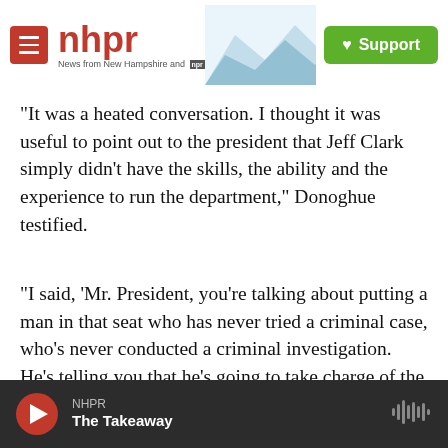nhpr — News from New Hampshire and NPR — Support
"It was a heated conversation. I thought it was useful to point out to the president that Jeff Clark simply didn't have the skills, the ability and the experience to run the department," Donoghue testified.
"I said, 'Mr. President, you're talking about putting a man in that seat who has never tried a criminal case, who's never conducted a criminal investigation. He's telling you that he's going to take charge of the department — 115,000 employees, including the entire FBI — and turn the
NHPR — The Takeaway